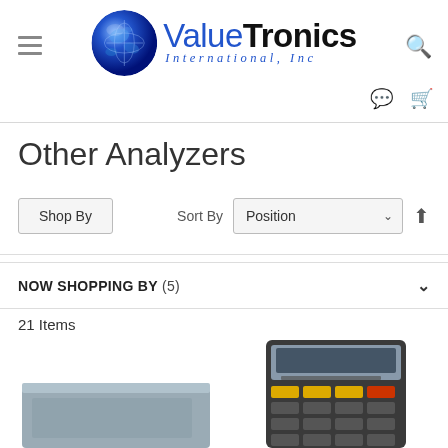[Figure (logo): ValueTronics International, Inc logo with blue globe and company name]
Other Analyzers
Shop By
Sort By  Position
NOW SHOPPING BY (5)
21 Items
[Figure (photo): Partial product image - flat gray device]
[Figure (photo): Partial product image - handheld digital analyzer with keypad and display]